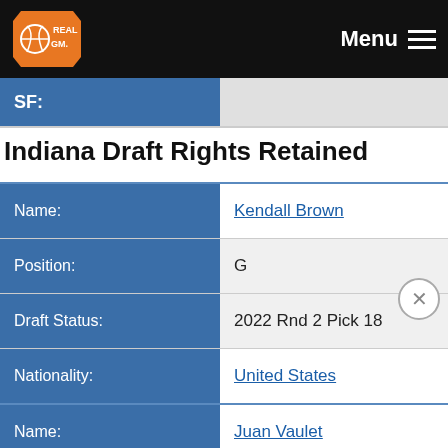RealGM — Menu
SF:
Indiana Draft Rights Retained
| Field | Value |
| --- | --- |
| Name: | Kendall Brown |
| Position: | G |
| Draft Status: | 2022 Rnd 2 Pick 18 |
| Nationality: | United States |
| Name: | Juan Vaulet |
| Position: | F |
| Draft Status: | 2015 Rnd 2 Pick 9 |
| Nationality: | Argentina |
| Name: | Maurdy Letinen |
| Position: | F |